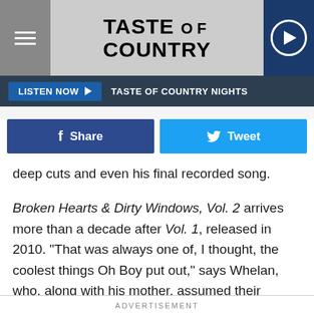TASTE OF COUNTRY
LISTEN NOW  TASTE OF COUNTRY NIGHTS
Share  Tweet
deep cuts and even his final recorded song.
Broken Hearts & Dirty Windows, Vol. 2 arrives more than a decade after Vol. 1, released in 2010. "That was always one of, I thought, the coolest things Oh Boy put out," says Whelan, who, along with his mother, assumed their positions at the record label in 2015, after the death of Al Bunetta, Prine's longtime manager, with whom the artist co-founded the label in 1981.
ADVERTISEMENT